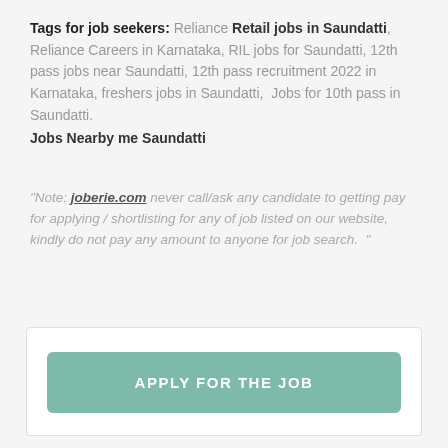Tags for job seekers: Reliance Retail jobs in Saundatti, Reliance Careers in Karnataka, RIL jobs for Saundatti, 12th pass jobs near Saundatti, 12th pass recruitment 2022 in Karnataka, freshers jobs in Saundatti, Jobs for 10th pass in Saundatti. Jobs Nearby me Saundatti
"Note: joberie.com never call/ask any candidate to getting pay for applying / shortlisting for any of job listed on our website, kindly do not pay any amount to anyone for job search. "
APPLY FOR THE JOB